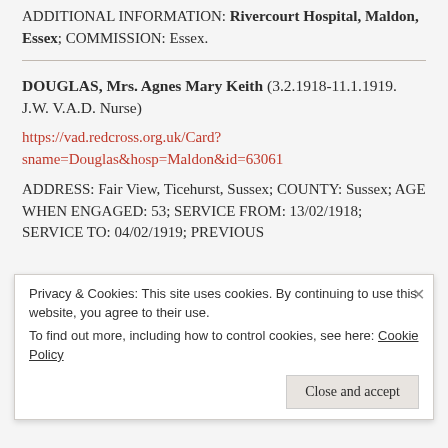ADDITIONAL INFORMATION: Rivercourt Hospital, Maldon, Essex; COMMISSION: Essex.
DOUGLAS, Mrs. Agnes Mary Keith (3.2.1918-11.1.1919. J.W. V.A.D. Nurse)
https://vad.redcross.org.uk/Card?sname=Douglas&hosp=Maldon&id=63061
ADDRESS: Fair View, Ticehurst, Sussex; COUNTY: Sussex; AGE WHEN ENGAGED: 53; SERVICE FROM: 13/02/1918; SERVICE TO: 04/02/1919; PREVIOUS
Privacy & Cookies: This site uses cookies. By continuing to use this website, you agree to their use.
To find out more, including how to control cookies, see here: Cookie Policy
Close and accept